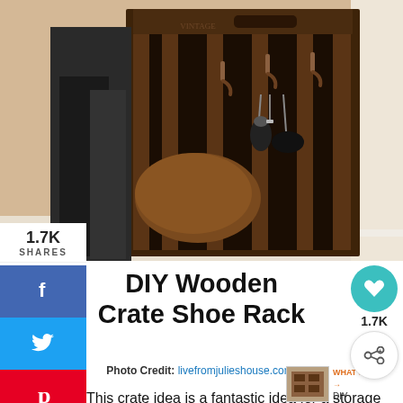[Figure (photo): A rustic dark wooden crate used as a shoe rack and key holder in a hallway, with boots stored inside and metal hooks on the front holding keys. Photo shows warm-toned wall background.]
1.7K
SHARES
[Figure (infographic): Social sharing sidebar with Facebook, Twitter, and Pinterest buttons]
[Figure (infographic): Floating heart button showing 1.7K and a share icon button]
DIY Wooden Crate Shoe Rack
Photo Credit: livefromjulieshouse.com
[Figure (photo): Small thumbnail of a DIY Nightstand]
WHAT'S NEXT → DIY Nightstand...
This crate idea is a fantastic idea for a storage solution in the hallway but also has stronger features…